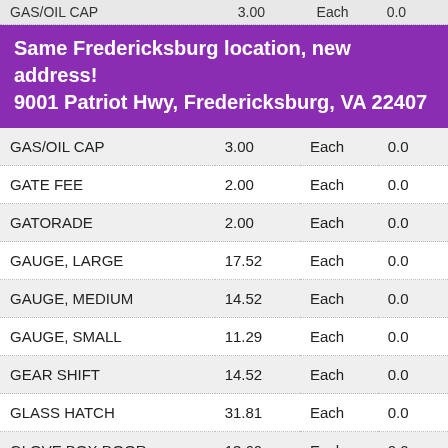GAS/OIL CAP  3.00  Each  0.0
Same Fredericksburg location, new address!
9001 Patriot Hwy, Fredericksburg, VA 22407
| Item | Price | Unit |  |
| --- | --- | --- | --- |
| GAS/OIL CAP | 3.00 | Each | 0.0 |
| GATE FEE | 2.00 | Each | 0.0 |
| GATORADE | 2.00 | Each | 0.0 |
| GAUGE, LARGE | 17.52 | Each | 0.0 |
| GAUGE, MEDIUM | 14.52 | Each | 0.0 |
| GAUGE, SMALL | 11.29 | Each | 0.0 |
| GEAR SHIFT | 14.52 | Each | 0.0 |
| GLASS HATCH | 31.81 | Each | 0.0 |
| GLOVE BOX DOOR | 13.60 | Each | 0.0 |
| GRILLE, METAL BARE | 33.43 | Each | 3.3 |
| GRILLE, PLASTIC | 33.42 | Each | 0.0 |